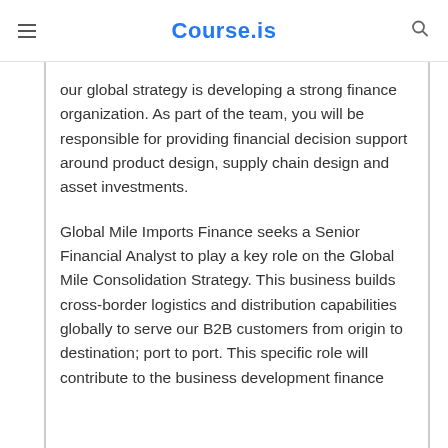Course.is
our global strategy is developing a strong finance organization. As part of the team, you will be responsible for providing financial decision support around product design, supply chain design and asset investments.
Global Mile Imports Finance seeks a Senior Financial Analyst to play a key role on the Global Mile Consolidation Strategy. This business builds cross-border logistics and distribution capabilities globally to serve our B2B customers from origin to destination; port to port. This specific role will contribute to the business development finance